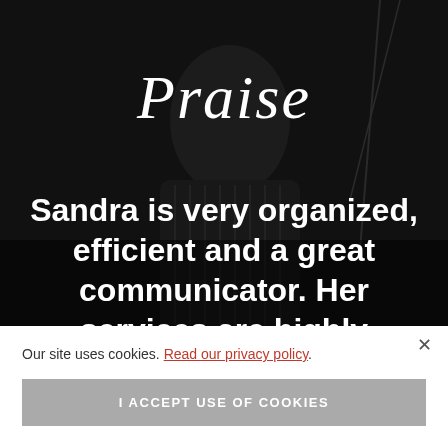[Figure (photo): Dark background photo of a person wearing a black ribbed outfit, partially visible, with dark ambient lighting]
Praise
Sandra is very organized, efficient and a great communicator. Her services are highly recommended.
Our site uses cookies. Read our privacy policy.
I ACCEPT USE OF COOKIES